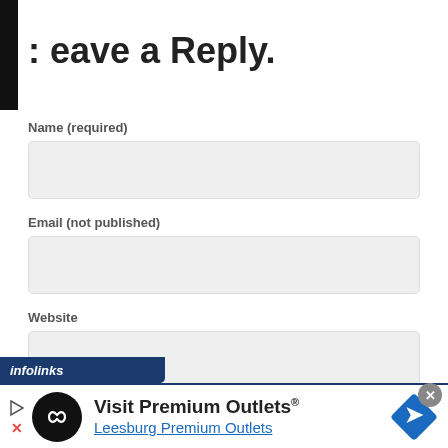Leave a Reply.
Name (required)
Email (not published)
Website
[Figure (screenshot): Infolinks advertisement banner showing 'Visit Premium Outlets® Leesburg Premium Outlets' with a black circular logo with infinity symbol and a blue diamond-shaped navigation icon.]